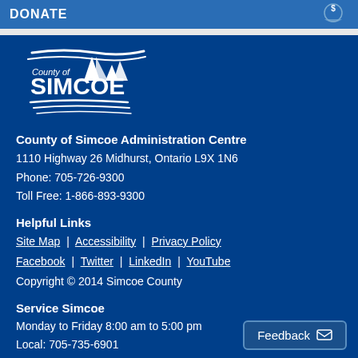DONATE
[Figure (logo): County of Simcoe logo — white text and sailing ship emblem on dark blue background]
County of Simcoe Administration Centre
1110 Highway 26 Midhurst, Ontario L9X 1N6
Phone: 705-726-9300
Toll Free: 1-866-893-9300
Helpful Links
Site Map | Accessibility | Privacy Policy
Facebook | Twitter | LinkedIn | YouTube
Copyright © 2014 Simcoe County
Service Simcoe
Monday to Friday 8:00 am to 5:00 pm
Local: 705-735-6901
Toll Free: 1-800-263-3199
E-mail: info@simcoe.ca